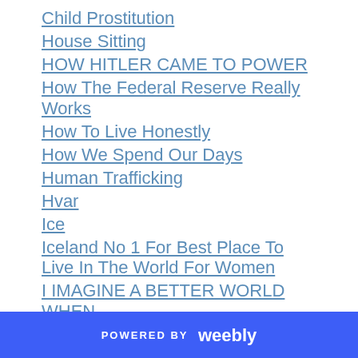Child Prostitution
House Sitting
HOW HITLER CAME TO POWER
How The Federal Reserve Really Works
How To Live Honestly
How We Spend Our Days
Human Trafficking
Hvar
Ice
Iceland No 1 For Best Place To Live In The World For Women
I IMAGINE A BETTER WORLD WHEN ...
I Lived In Hypocrisy
I Love Michelle Obama
Imagine This
POWERED BY weebly